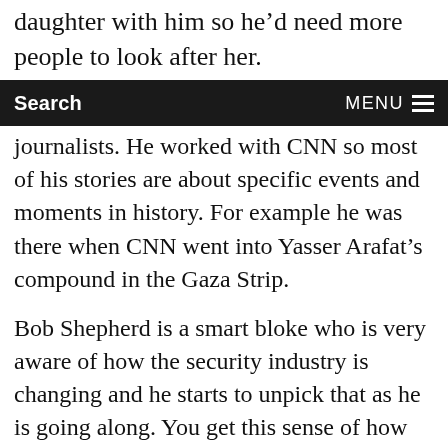daughter with him so he'd need more people to look after her.
Search   MENU
journalists. He worked with CNN so most of his stories are about specific events and moments in history. For example he was there when CNN went into Yasser Arafat's compound in the Gaza Strip.
Bob Shepherd is a smart bloke who is very aware of how the security industry is changing and he starts to unpick that as he is going along. You get this sense of how this small group of specialised people suddenly found that the demand for their type of work had escalated. He talks about how amateurs were starting to get into this line of work, like the nightclub bouncer from the UK who turned up in Iraq, picked up an AK47 and got himself some private security work.